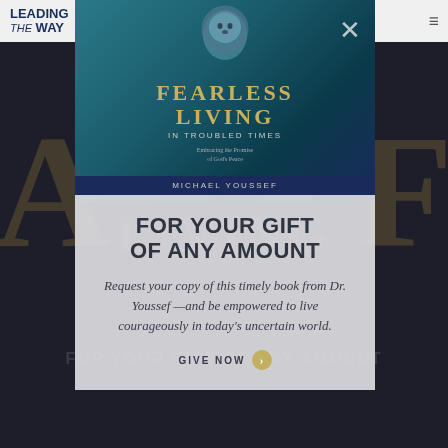Leading The Way
[Figure (illustration): Book cover for 'Fearless Living in Troubled Times' by Michael Youssef, showing a lion graphic on a teal/blue background with gold title text]
FOR YOUR GIFT OF ANY AMOUNT
Request your copy of this timely book from Dr. Youssef —and be empowered to live courageously in today's uncertain world.
GIVE NOW